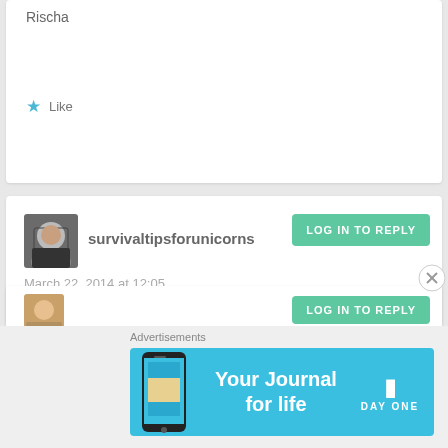Rischa
Like
survivaltipsforunicorns
LOG IN TO REPLY
March 22, 2014 at 12:05
YES! Great article. I would love you to start a “Boi’s Club” in the corporate world.
Like
LOG IN TO REPLY
Advertisements
[Figure (infographic): Day One app advertisement banner: cyan background, phone image on left, 'Your Journal for life' text in center, DAY ONE logo on right]